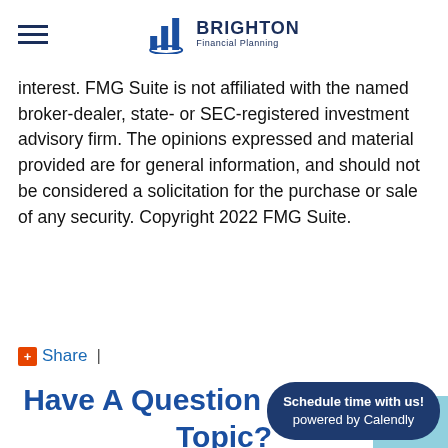Brighton Financial Planning
interest. FMG Suite is not affiliated with the named broker-dealer, state- or SEC-registered investment advisory firm. The opinions expressed and material provided are for general information, and should not be considered a solicitation for the purchase or sale of any security. Copyright 2022 FMG Suite.
Share |
Have A Question About This Topic?
Name